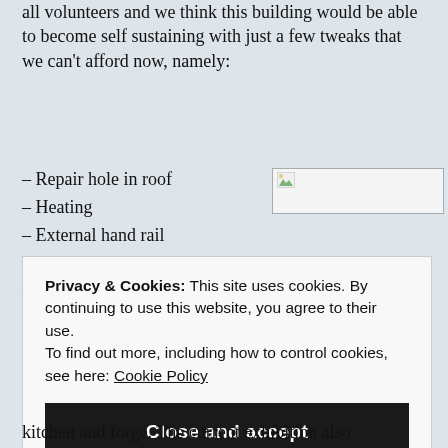all volunteers and we think this building would be able to become self sustaining with just a few tweaks that we can't afford now, namely:
– Repair hole in roof
[Figure (photo): Broken/missing image placeholder]
– Heating
– External hand rail on stone steps
– Conservation plan
Privacy & Cookies: This site uses cookies. By continuing to use this website, you agree to their use. To find out more, including how to control cookies, see here: Cookie Policy
Close and accept
kitchen and forge. The current exhibition also